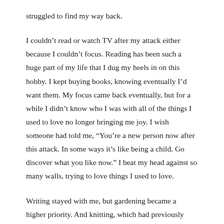struggled to find my way back.
I couldn't read or watch TV after my attack either because I couldn't focus. Reading has been such a huge part of my life that I dug my heels in on this hobby. I kept buying books, knowing eventually I'd want them. My focus came back eventually, but for a while I didn't know who I was with all of the things I used to love no longer bringing me joy. I wish someone had told me, “You’re a new person now after this attack. In some ways it’s like being a child. Go discover what you like now.” I beat my head against so many walls, trying to love things I used to love.
Writing stayed with me, but gardening became a higher priority. And knitting, which had previously occupied a tiny space, became a shelter for my mind when I couldn’t accomplish much but still needed to learn. My caving became